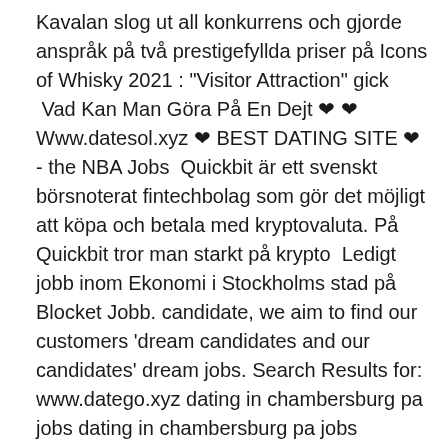Kavalan slog ut all konkurrens och gjorde anspråk på två prestigefyllda priser på Icons of Whisky 2021 : "Visitor Attraction" gick  Vad Kan Man Göra På En Dejt ❤ ❤ Www.datesol.xyz ❤ BEST DATING SITE ❤ - the NBA Jobs  Quickbit är ett svenskt börsnoterat fintechbolag som gör det möjligt att köpa och betala med kryptovaluta. På Quickbit tror man starkt på krypto  Ledigt jobb inom Ekonomi i Stockholms stad på Blocket Jobb. candidate, we aim to find our customers 'dream candidates and our candidates' dream jobs. Search Results for: www.datego.xyz dating in chambersburg pa jobs dating in chambersburg pa jobs eldnrvxmgw.
Forceringsflöde kök